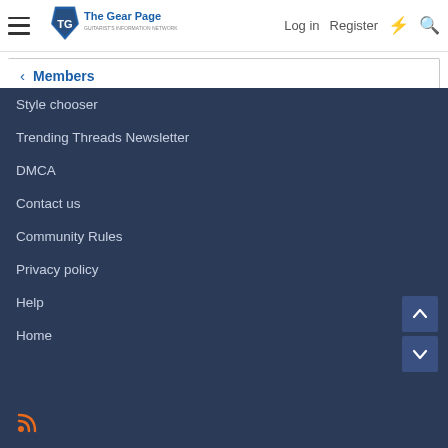The Gear Page — Log in | Register
Members
Style chooser
Trending Threads Newsletter
DMCA
Contact us
Community Rules
Privacy policy
Help
Home